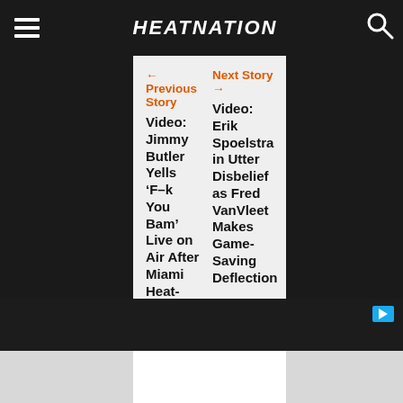HEATNATION
← Previous Story
Next Story →
Video: Jimmy Butler Yells ‘F–k You Bam’ Live on Air After Miami Heat-Denver Nuggets Game
Video: Erik Spoelstra in Utter Disbelief as Fred VanVleet Makes Game-Saving Deflection
[Figure (screenshot): Embedded video player with dark background, showing 0:00 timestamp, play button, volume icon, fullscreen icon, options icon, and a horizontal progress bar near the bottom. A cyan play icon is visible in the top-right corner.]